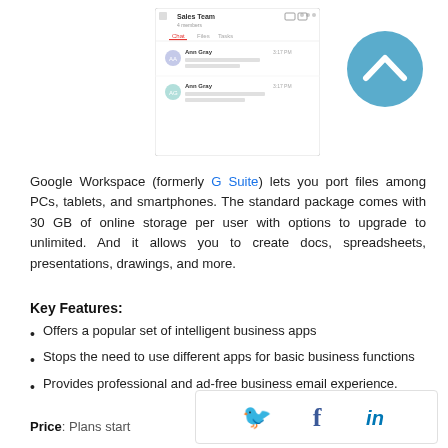[Figure (screenshot): Mobile app screenshot showing Sales Team chat interface]
[Figure (illustration): Blue circular button with upward chevron/caret icon]
Google Workspace (formerly G Suite) lets you port files among PCs, tablets, and smartphones. The standard package comes with 30 GB of online storage per user with options to upgrade to unlimited. And it allows you to create docs, spreadsheets, presentations, drawings, and more.
Key Features:
Offers a popular set of intelligent business apps
Stops the need to use different apps for basic business functions
Provides professional and ad-free business email experience.
Price: Plans start
[Figure (infographic): Social sharing bar with Twitter, Facebook, and LinkedIn icons]